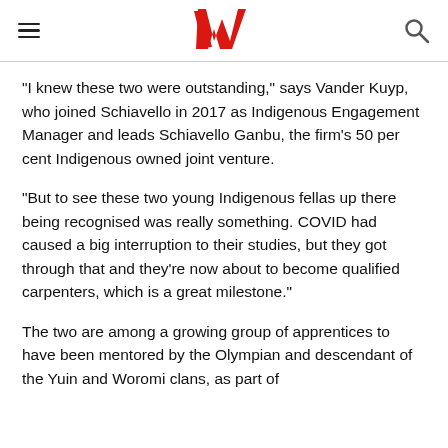Westpac logo, hamburger menu, search icon
“I knew these two were outstanding,” says Vander Kuyp, who joined Schiavello in 2017 as Indigenous Engagement Manager and leads Schiavello Ganbu, the firm’s 50 per cent Indigenous owned joint venture.
“But to see these two young Indigenous fellas up there being recognised was really something. COVID had caused a big interruption to their studies, but they got through that and they’re now about to become qualified carpenters, which is a great milestone.”
The two are among a growing group of apprentices to have been mentored by the Olympian and descendant of the Yuin and Woromi clans, as part of